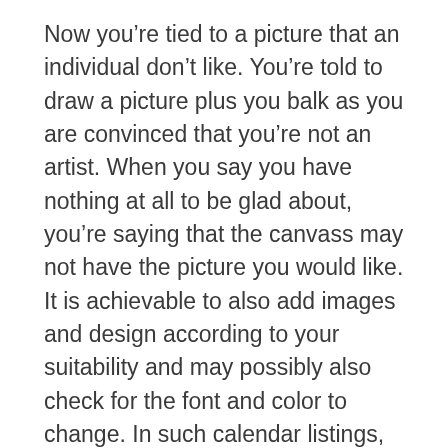Now you're tied to a picture that an individual don't like. You're told to draw a picture plus you balk as you are convinced that you're not an artist. When you say you have nothing at all to be glad about, you're saying that the canvass may not have the picture you would like. It is achievable to also add images and design according to your suitability and may possibly also check for the font and color to change. In such calendar listings, the specifics of the start and end associated with the month can change from 1 calendar in order to the next as the individuals utilize various techniques to figure out the data. Your personal style will select the specific